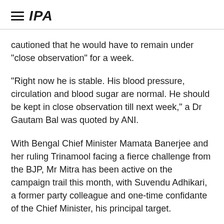IPA
cautioned that he would have to remain under “close observation” for a week.
“Right now he is stable. His blood pressure, circulation and blood sugar are normal. He should be kept in close observation till next week,” a Dr Gautam Bal was quoted by ANI.
With Bengal Chief Minister Mamata Banerjee and her ruling Trinamool facing a fierce challenge from the BJP, Mr Mitra has been active on the campaign trail this month, with Suvendu Adhikari, a former party colleague and one-time confidante of the Chief Minister, his principal target.